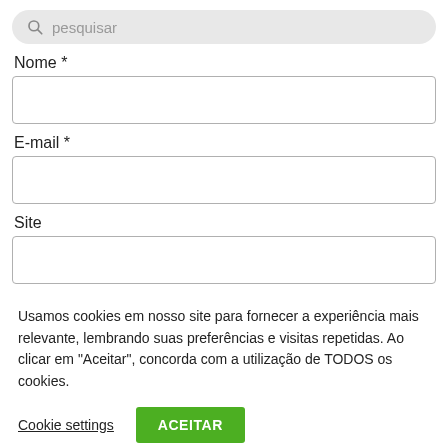[Figure (screenshot): Search bar with magnifying glass icon and placeholder text 'pesquisar']
Nome *
[Figure (screenshot): Empty input text box for Nome field]
E-mail *
[Figure (screenshot): Empty input text box for E-mail field]
Site
[Figure (screenshot): Empty input text box for Site field]
Usamos cookies em nosso site para fornecer a experiência mais relevante, lembrando suas preferências e visitas repetidas. Ao clicar em “Aceitar”, concorda com a utilização de TODOS os cookies.
Cookie settings
ACEITAR